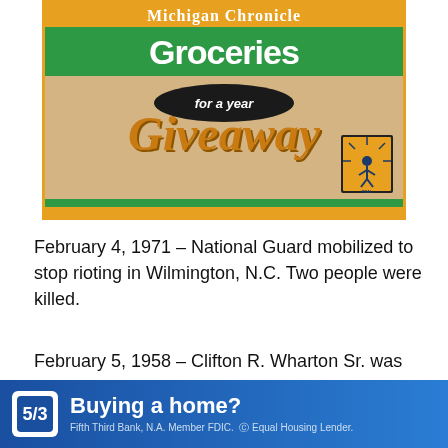[Figure (illustration): Michigan Chronicle Groceries for a year Giveaway advertisement banner with orange, green, and tan colors. Features 'Michigan Chronicle' in orange bar at top, 'Groceries' in white text on green bar, 'for a year' in black oval, 'Giveaway' in orange script, and Real Times Media logo at bottom right.]
February 4, 1971 – National Guard mobilized to stop rioting in Wilmington, N.C. Two people were killed.
February 5, 1958 – Clifton R. Wharton Sr. was made a Rumania (now spelled Romania). This career s the first Black to head a U.S. embassy in
× Hide
[Figure (logo): Fifth Third Bank advertisement banner. Blue gradient background with white bank logo icon showing 5/3, text 'Buying a home?' in bold white, and fine print 'Fifth Third Bank, N.A. Member FDIC. Equal Housing Lender.']